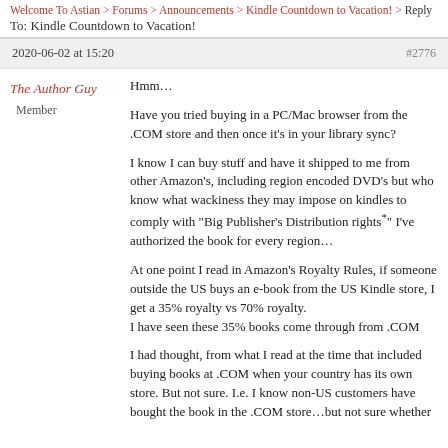Welcome To Astian > Forums > Announcements > Kindle Countdown to Vacation! > Reply To: Kindle Countdown to Vacation!
2020-06-02 at 15:20  #2776
The Author Guy
Member
Hmm...

Have you tried buying in a PC/Mac browser from the .COM store and then once it's in your library sync?

I know I can buy stuff and have it shipped to me from other Amazon's, including region encoded DVD's but who know what wackiness they may impose on kindles to comply with "Big Publisher's Distribution rights" I've authorized the book for every region...

At one point I read in Amazon's Royalty Rules, if someone outside the US buys an e-book from the US Kindle store, I get a 35% royalty vs 70% royalty.
I have seen these 35% books come through from .COM

I had thought, from what I read at the time that included buying books at .COM when your country has its own store. But not sure. I.e. I know non-US customers have bought the book in the .COM store...but not sure whether